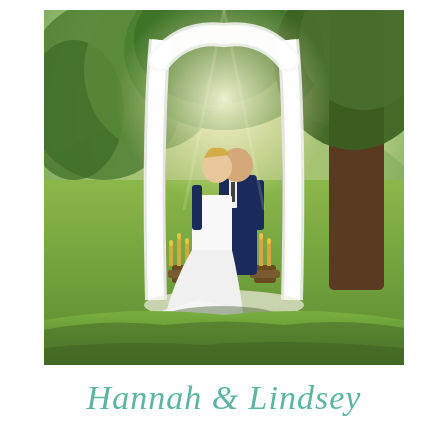[Figure (photo): An outdoor wedding ceremony photo showing a bride in a white gown and groom in a navy suit sharing a kiss under a white fabric draped arch, flanked by candle stands on wooden barrels, surrounded by green grass, trees, and an open field in warm golden light.]
Hannah & Lindsey